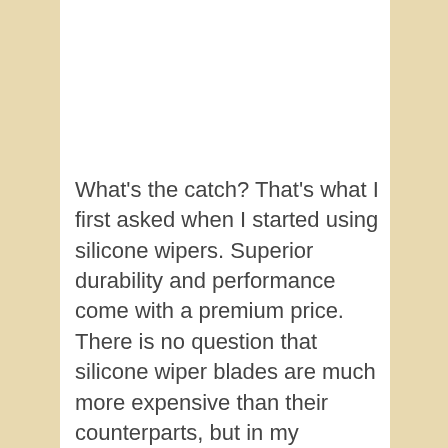What's the catch? That's what I first asked when I started using silicone wipers. Superior durability and performance come with a premium price. There is no question that silicone wiper blades are much more expensive than their counterparts, but in my opinion, it's well worth the cost, considering the performance. Silicone blades can not only withstand harsh conditions, but they thrive in them. Take a rubber wiper to a hurricane, and it breaks in two, while silicone will conquer the rain. Not only that, but remember the water-repellent layer? It